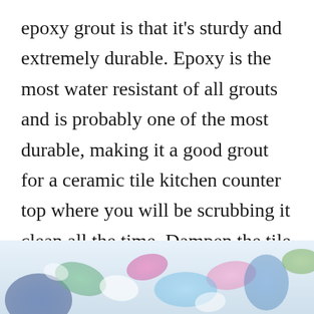epoxy grout is that it’s sturdy and extremely durable. Epoxy is the most water resistant of all grouts and is probably one of the most durable, making it a good grout for a ceramic tile kitchen counter top where you will be scrubbing it clean all the time. Dampen the tile with a sponge and immediately pack the joints with spectralock. It comes as a kit with three pouches:
[Figure (photo): Bottom portion of a photo showing colorful tile pieces or stones on a light blue/white surface, partially cropped]